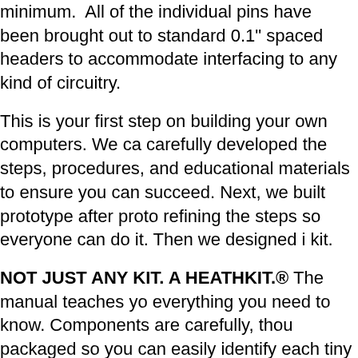minimum.  All of the individual pins have been brought out to standard 0.1" spaced headers to accommodate interfacing to any kind of circuitry.
This is your first step on building your own computers. We carefully developed the steps, procedures, and educational materials to ensure you can succeed. Next, we built prototype after prototype refining the steps so everyone can do it. Then we designed it into a kit.
NOT JUST ANY KIT. A HEATHKIT.® The manual teaches you everything you need to know. Components are carefully, thoughtfully packaged so you can easily identify each tiny part. The instructions tell you what to open (and not open) at each step, so everything stays organized and you don't lose anything. We researched and qualified all the optional tools you need for successful soldering asembly. The instructions take you step-by-step. It's all included. The kit is easy enough to ensure you succeed, just hard enough to be a fun challenge for a beginner, and useful when you're done.